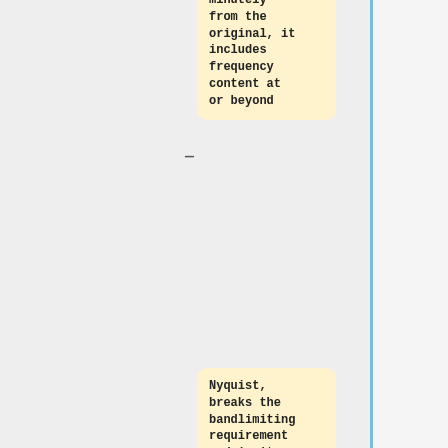minutely from the original, it includes frequency content at or beyond
Nyquist, breaks the bandlimiting requirement and isn't a valid
solution.
So how did everyone get confused and start
First: it's easy to convert a sampled